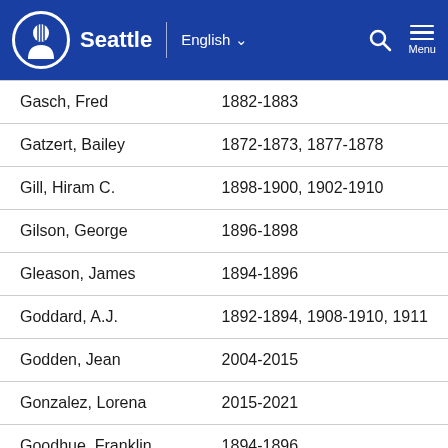Seattle | English | Menu
| Name | Years |
| --- | --- |
| Gasch, Fred | 1882-1883 |
| Gatzert, Bailey | 1872-1873, 1877-1878 |
| Gill, Hiram C. | 1898-1900, 1902-1910 |
| Gilson, George | 1896-1898 |
| Gleason, James | 1894-1896 |
| Goddard, A.J. | 1892-1894, 1908-1910, 1911 |
| Godden, Jean | 2004-2015 |
| Gonzalez, Lorena | 2015-2021 |
| Goodhue, Franklin | 1894-1896 |
| Graham, Walter | 1885 |